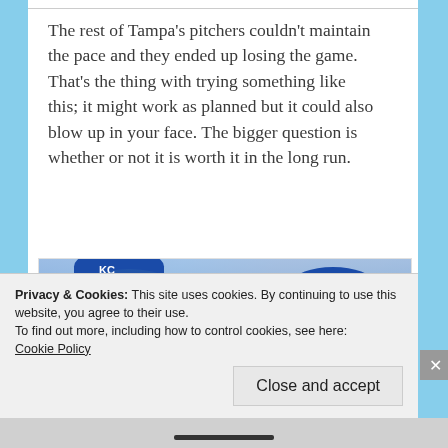The rest of Tampa’s pitchers couldn’t maintain the pace and they ended up losing the game. That’s the thing with trying something like this; it might work as planned but it could also blow up in your face. The bigger question is whether or not it is worth it in the long run.
[Figure (photo): Two Kansas City Royals baseball players wearing blue KC caps, with a crowd visible in the background]
Privacy & Cookies: This site uses cookies. By continuing to use this website, you agree to their use.
To find out more, including how to control cookies, see here: Cookie Policy
Close and accept